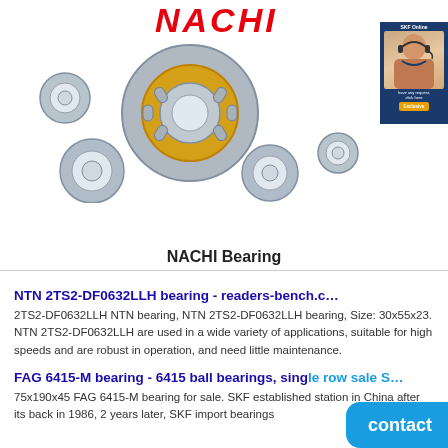[Figure (logo): NACHI red italic logo text at top of page]
[Figure (photo): NACHI bearing product photo showing multiple ball bearings and cylindrical roller bearings arranged together]
[Figure (photo): SKF Online chat/contact badge on the right side with a customer service representative photo]
NACHI Bearing
NTN 2TS2-DF0632LLH bearing - readers-bench.c…
2TS2-DF0632LLH NTN bearing, NTN 2TS2-DF0632LLH bearing, Size: 30x55x23. NTN 2TS2-DF0632LLH are used in a wide variety of applications, suitable for high speeds and are robust in operation, and need little maintenance.
FAG 6415-M bearing - 6415 ball bearings, sing le row sale S…
75x190x45 FAG 6415-M bearing for sale. SKF established station in China after its back in 1986, 2 years later, SKF import bearings
[Figure (other): Blue contact button overlay at bottom right]